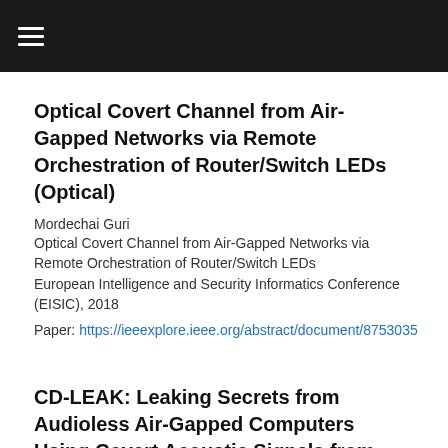≡
Optical Covert Channel from Air-Gapped Networks via Remote Orchestration of Router/Switch LEDs (Optical)
Mordechai Guri
Optical Covert Channel from Air-Gapped Networks via Remote Orchestration of Router/Switch LEDs
European Intelligence and Security Informatics Conference (EISIC), 2018
Paper: https://ieeexplore.ieee.org/abstract/document/8753035
CD-LEAK: Leaking Secrets from Audioless Air-Gapped Computers Using Covert Acoustic Signals from CD/DVD Drives (Acoustic)